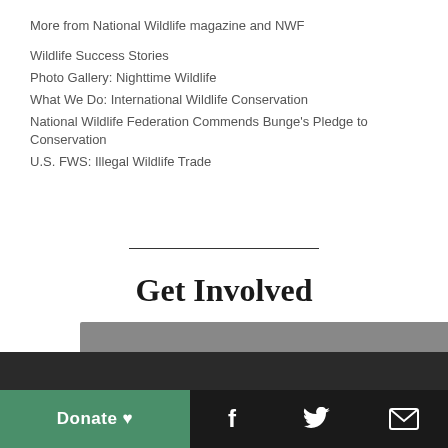More from National Wildlife magazine and NWF
Wildlife Success Stories
Photo Gallery: Nighttime Wildlife
What We Do: International Wildlife Conservation
National Wildlife Federation Commends Bunge's Pledge to Conservation
U.S. FWS: Illegal Wildlife Trade
Get Involved
Donate ♥  [Facebook] [Twitter] [Email]